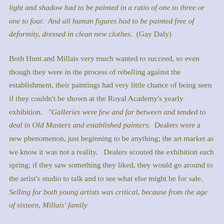light and shadow had to be painted in a ratio of one to three or one to four. And all human figures had to be painted free of deformity, dressed in clean new clothes. (Gay Daly)
Both Hunt and Millais very much wanted to succeed, so even though they were in the process of rebelling against the establishment, their paintings had very little chance of being seen if they couldn't be shown at the Royal Academy's yearly exhibition. "Galleries were few and far between and tended to deal in Old Masters and established painters. Dealers were a new phenomenon, just beginning to be anything; the art market as we know it was not a reality. Dealers scouted the exhibition each spring; if they saw something they liked, they would go around to the artist's studio to talk and to see what else might be for sale. Selling for both young artists was critical, because from the age of sixteen, Millais' family